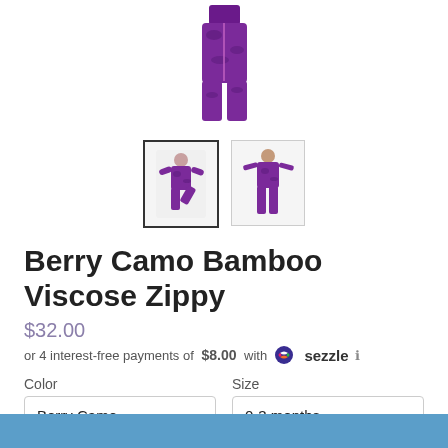[Figure (photo): Purple bamboo zippy pajama garment shown hanging, cropped at top]
[Figure (photo): Two thumbnail images: left thumbnail selected showing child in purple camo zippy, right thumbnail showing child standing in purple camo zippy]
Berry Camo Bamboo Viscose Zippy
$32.00
or 4 interest-free payments of $8.00 with sezzle ℹ
Color
Berry Camo
Size
0-3 months